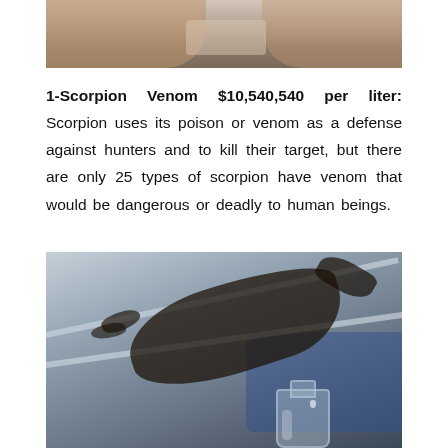[Figure (photo): Close-up photo of hands holding a small vial or container, partial view at top of page]
1-Scorpion Venom $10,540,540 per liter: Scorpion uses its poison or venom as a defense against hunters and to kill their target, but there are only 25 types of scorpion have venom that would be dangerous or deadly to human beings.
[Figure (photo): Photo of a scorpion held by tweezers/glass rods dripping venom into a small glass vial, with a blue device in the background]